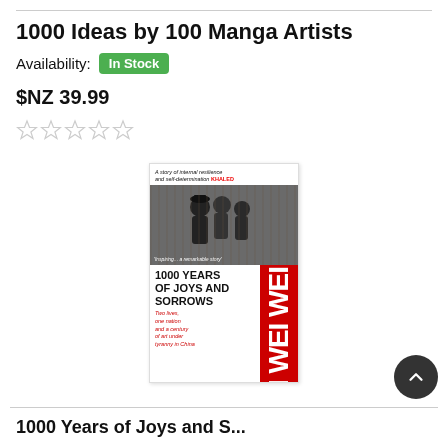1000 Ideas by 100 Manga Artists
Availability: In Stock
$NZ 39.99
[Figure (other): Five empty star rating icons]
[Figure (illustration): Book cover of '1000 Years of Joys and Sorrows' by Ai Weiwei. Cover shows black and white photograph of three people, with large bold red text 'AI WEIWEI' running vertically on the right side, and text '1000 YEARS OF JOYS AND SORROWS' in black on white lower left, subtitle 'Two lives, one nation and a century of art under tyranny in China' in red italic.]
1000 Years of Joys and S...